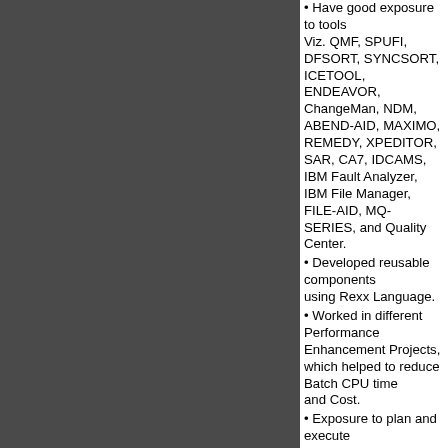Have good exposure to tools Viz. QMF, SPUFI, DFSORT, SYNCSORT, ICETOOL, ENDEAVOR, ChangeMan, NDM, ABEND-AID, MAXIMO, REMEDY, XPEDITOR, SAR, CA7, IDCAMS, IBM Fault Analyzer, IBM File Manager, FILE-AID, MQ-SERIES, and Quality Center.
Developed reusable components using Rexx Language.
Worked in different Performance Enhancement Projects, which helped to reduce Batch CPU time and Cost.
Exposure to plan and execute all phases of System Development Life cycle (SDLC) across System Analysis, Estimation, Architectural Design, High